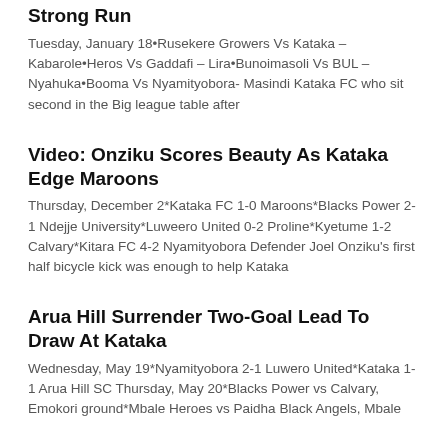Strong Run
Tuesday, January 18•Rusekere Growers Vs Kataka – Kabarole•Heros Vs Gaddafi – Lira•Bunoimasoli Vs BUL – Nyahuka•Booma Vs Nyamityobora- Masindi Kataka FC who sit second in the Big league table after
Video: Onziku Scores Beauty As Kataka Edge Maroons
Thursday, December 2*Kataka FC 1-0 Maroons*Blacks Power 2-1 Ndejje University*Luweero United 0-2 Proline*Kyetume 1-2 Calvary*Kitara FC 4-2 Nyamityobora Defender Joel Onziku's first half bicycle kick was enough to help Kataka
Arua Hill Surrender Two-Goal Lead To Draw At Kataka
Wednesday, May 19*Nyamityobora 2-1 Luwero United*Kataka 1-1 Arua Hill SC Thursday, May 20*Blacks Power vs Calvary, Emokori ground*Mbale Heroes vs Paidha Black Angels, Mbale